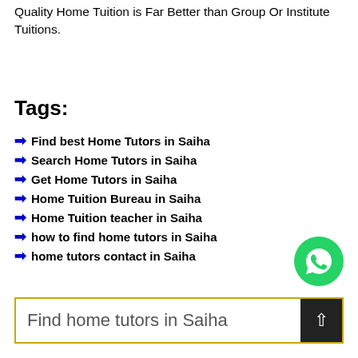Quality Home Tuition is Far Better than Group Or Institute Tuitions.
Tags:
Find best Home Tutors in Saiha
Search Home Tutors in Saiha
Get Home Tutors in Saiha
Home Tuition Bureau in Saiha
Home Tuition teacher in Saiha
how to find home tutors in Saiha
home tutors contact in Saiha
[Figure (other): WhatsApp contact button (green circle with phone icon)]
Find home tutors in Saiha